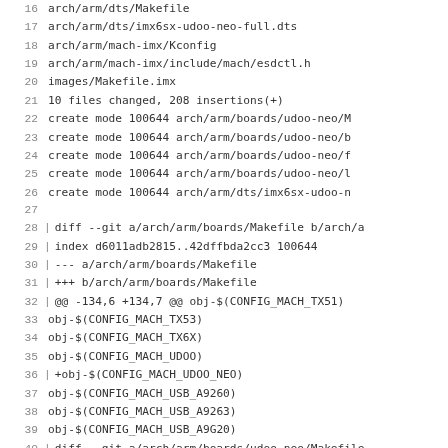Code diff listing showing lines 16-45 of a git diff output for Linux kernel ARM board files
16  arch/arm/dts/Makefile
17  arch/arm/dts/imx6sx-udoo-neo-full.dts
18  arch/arm/mach-imx/Kconfig
19  arch/arm/mach-imx/include/mach/esdctl.h
20  images/Makefile.imx
21  10 files changed, 208 insertions(+)
22  create mode 100644 arch/arm/boards/udoo-neo/M
23  create mode 100644 arch/arm/boards/udoo-neo/b
24  create mode 100644 arch/arm/boards/udoo-neo/f
25  create mode 100644 arch/arm/boards/udoo-neo/l
26  create mode 100644 arch/arm/dts/imx6sx-udoo-n
27
28  diff --git a/arch/arm/boards/Makefile b/arch/a
29  index d6011adb2815..42dffbda2cc3 100644
30  --- a/arch/arm/boards/Makefile
31  +++ b/arch/arm/boards/Makefile
32  @@ -134,6 +134,7 @@ obj-$(CONFIG_MACH_TX51)
33   obj-$(CONFIG_MACH_TX53)
34   obj-$(CONFIG_MACH_TX6X)
35   obj-$(CONFIG_MACH_UDOO)
36  +obj-$(CONFIG_MACH_UDOO_NEO)
37   obj-$(CONFIG_MACH_USB_A9260)
38   obj-$(CONFIG_MACH_USB_A9263)
39   obj-$(CONFIG_MACH_USB_A9G20)
40  diff --git a/arch/arm/boards/udoo-neo/Makefile
41  new file mode 100644
42  index 0000000000000..01c7a259e9a5
43  --- /dev/null
44  +++ b/arch/arm/boards/udoo-neo/Makefile
45  @@ -0,0 +1,2 @@